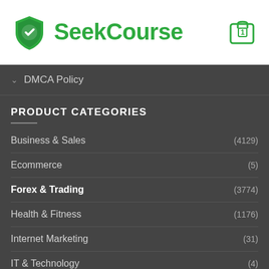SeekCourse
DMCA Policy
PRODUCT CATEGORIES
Business & Sales (4129)
Ecommerce (5)
Forex & Trading (3774)
Health & Fitness (1176)
Internet Marketing (31)
IT & Technology (4)
NLP & Hypnosis (1289)